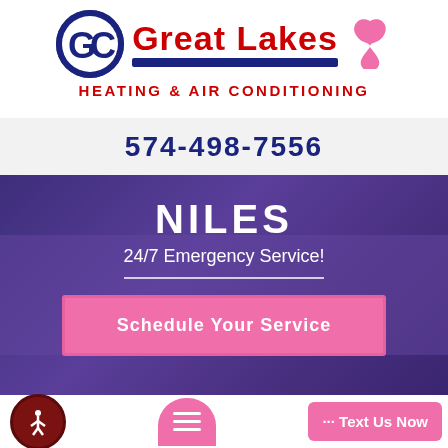[Figure (logo): Great Lakes Heating & Air Conditioning logo with GC emblem, red text, blue underline bar, and pink breast cancer awareness ribbon]
574-498-7556
NILES
24/7 Emergency Service!
Schedule Your Service
··· Text Us Now